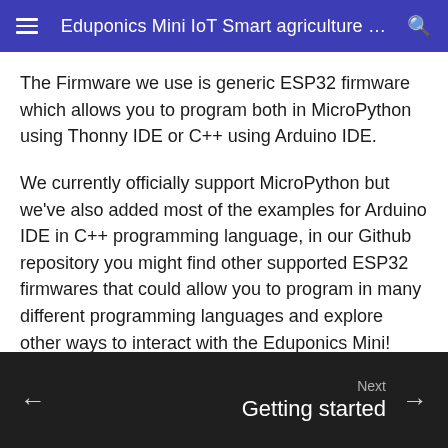Eduponics Mini IoT Smart agriculture …
The Firmware we use is generic ESP32 firmware which allows you to program both in MicroPython using Thonny IDE or C++ using Arduino IDE.
We currently officially support MicroPython but we've also added most of the examples for Arduino IDE in C++ programming language, in our Github repository you might find other supported ESP32 firmwares that could allow you to program in many different programming languages and explore other ways to interact with the Eduponics Mini!
Next Getting started →